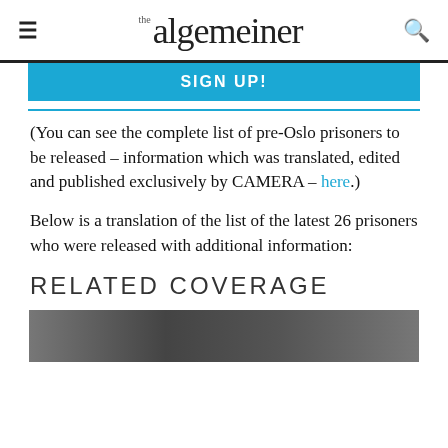the algemeiner
SIGN UP!
(You can see the complete list of pre-Oslo prisoners to be released – information which was translated, edited and published exclusively by CAMERA – here.)
Below is a translation of the list of the latest 26 prisoners who were released with additional information:
RELATED COVERAGE
[Figure (photo): Partially visible black and white photograph at the bottom of the page]